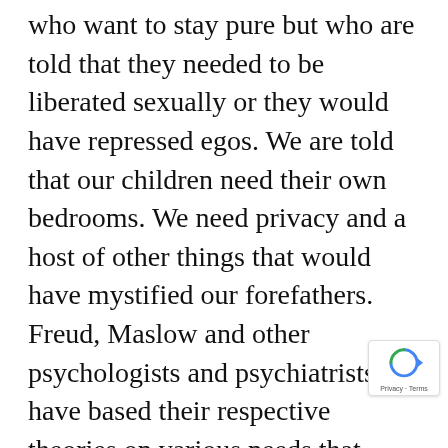who want to stay pure but who are told that they needed to be liberated sexually or they would have repressed egos. We are told that our children need their own bedrooms. We need privacy and a host of other things that would have mystified our forefathers. Freud, Maslow and other psychologists and psychiatrists have based their respective theories on various needs that men, women and children have. Almost every psychology is need driven. And its not just ministries that are driven by the hierarchy of needs but also American industry and advertising. When you start with the humanistic principle that man is ultimate and that man should be fulfilled, then the whole of life is as meeting the needs of man. It will be impossible for the government to give
[Figure (other): reCAPTCHA badge with privacy and terms text]